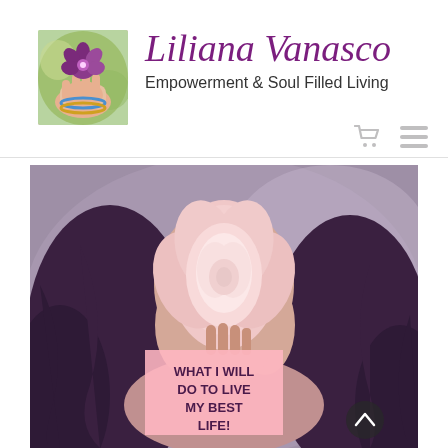[Figure (logo): Small square photo of a hand holding a purple flower with colorful bangles and green bokeh background]
Liliana Vanasco
Empowerment & Soul Filled Living
[Figure (photo): Young woman with long dark purple wavy hair holding a large pink rose/peony flower up to her face, soft muted pink and grey tones]
WHAT I WILL DO TO LIVE MY BEST LIFE!